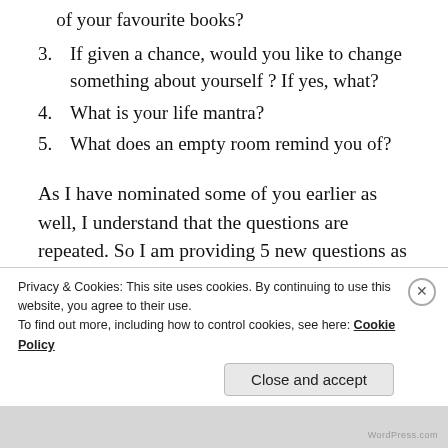of your favourite books?
3. If given a chance, would you like to change something about yourself ? If yes, what?
4. What is your life mantra?
5. What does an empty room remind you of?
As I have nominated some of you earlier as well, I understand that the questions are repeated. So I am providing 5 new questions as well😊 You are most welcome to answer any or all of these✨
Privacy & Cookies: This site uses cookies. By continuing to use this website, you agree to their use. To find out more, including how to control cookies, see here: Cookie Policy
Close and accept